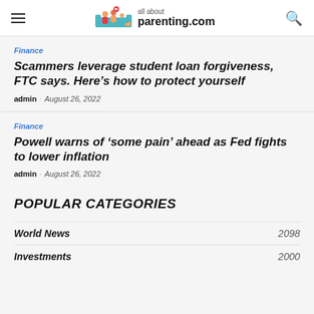all about parenting.com
Finance
Scammers leverage student loan forgiveness, FTC says. Here’s how to protect yourself
admin · August 26, 2022
Finance
Powell warns of ‘some pain’ ahead as Fed fights to lower inflation
admin · August 26, 2022
POPULAR CATEGORIES
World News 2098
Investments 2000